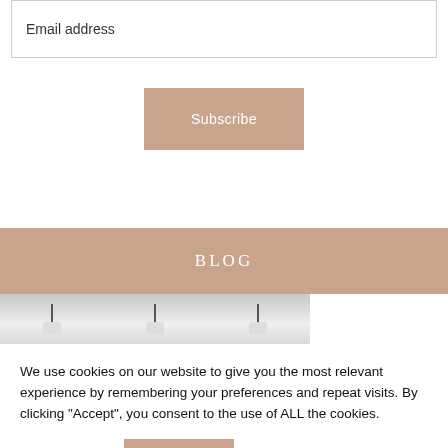Email address
Subscribe
BLOG
[Figure (photo): Partial view of a kitchen or interior scene showing pendant lights or lamps hanging from above, with a light grey background.]
We use cookies on our website to give you the most relevant experience by remembering your preferences and repeat visits. By clicking “Accept”, you consent to the use of ALL the cookies.
Cookie settings
ACCEPT